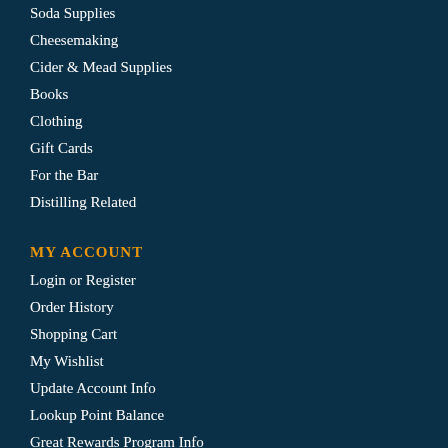Soda Supplies
Cheesemaking
Cider & Mead Supplies
Books
Clothing
Gift Cards
For the Bar
Distilling Related
MY ACCOUNT
Login or Register
Order History
Shopping Cart
My Wishlist
Update Account Info
Lookup Point Balance
Great Rewards Program Info
CUSTOMER SUPPORT
Frequently Asked Questions
Contact Us